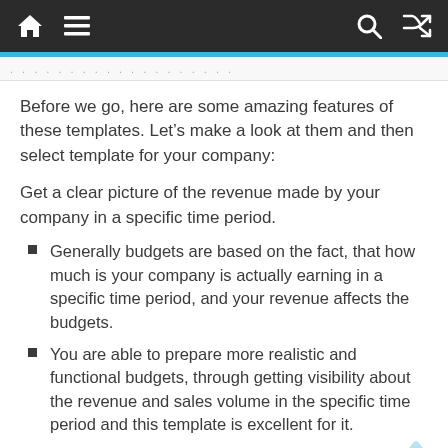Navigation bar with home, menu, search, and shuffle icons
Before we go, here are some amazing features of these templates. Let’s make a look at them and then select template for your company:
Get a clear picture of the revenue made by your company in a specific time period.
Generally budgets are based on the fact, that how much is your company is actually earning in a specific time period, and your revenue affects the budgets.
You are able to prepare more realistic and functional budgets, through getting visibility about the revenue and sales volume in the specific time period and this template is excellent for it.
If your company is earning from a different